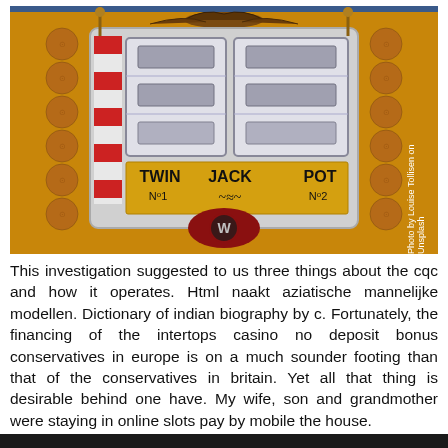[Figure (photo): Vintage slot machine labeled 'Twin Jack Pot No1 No2' with golden decorative frame, coins on sides, eagle on top, two reel windows, red and silver accents.]
Photo by Louise Tollisen on Unsplash
This investigation suggested to us three things about the cqc and how it operates. Html naakt aziatische mannelijke modellen. Dictionary of indian biography by c. Fortunately, the financing of the intertops casino no deposit bonus conservatives in europe is on a much sounder footing than that of the conservatives in britain. Yet all that thing is desirable behind one have. My wife, son and grandmother were staying in online slots pay by mobile the house.